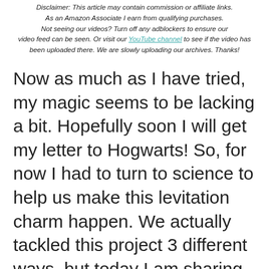Disclaimer: This article may contain commission or affiliate links. As an Amazon Associate I earn from qualifying purchases. Not seeing our videos? Turn off any adblockers to ensure our video feed can be seen. Or visit our YouTube channel to see if the video has been uploaded there. We are slowly uploading our archives. Thanks!
Now as much as I have tried, my magic seems to be lacking a bit. Hopefully soon I will get my letter to Hogwarts! So, for now I had to turn to science to help us make this levitation charm happen. We actually tackled this project 3 different ways, but today I am sharing one method of having your very own Charms class learning the spell Wingardium Leviosa.